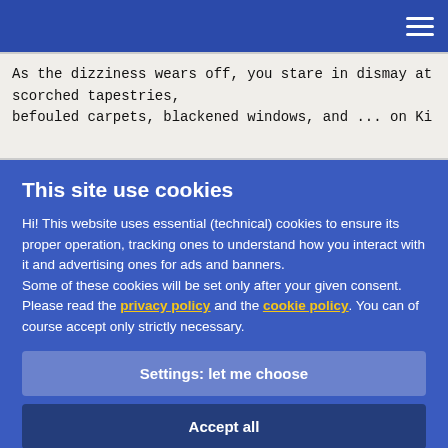Navigation bar with hamburger menu
As the dizziness wears off, you stare in dismay at scorched tapestries,
befouled carpets, blackened windows, and ... on Ki
This site use cookies
Hi! This website uses essential (technical) cookies to ensure its proper operation, tracking ones to understand how you interact with it and advertising ones for ads and banners.
Some of these cookies will be set only after your given consent.
Please read the privacy policy and the cookie policy. You can of course accept only strictly necessary.
Settings: let me choose
Accept all